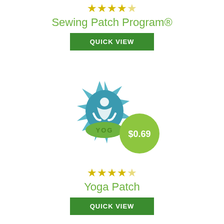[Figure (other): Five yellow stars rating for Sewing Patch Program]
Sewing Patch Program®
QUICK VIEW
[Figure (photo): Yoga patch embroidered badge with blue lotus flower and meditating figure, text YOG at bottom, with $0.69 green price badge]
[Figure (other): Four yellow stars rating for Yoga Patch]
Yoga Patch
QUICK VIEW